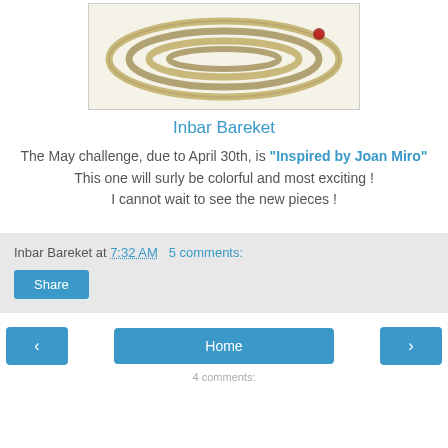[Figure (photo): Partial image of a spiral metallic jewelry piece on a light background, cropped at top]
Inbar Bareket
The May challenge, due to April 30th, is "Inspired by Joan Miro" This one will surly be colorful and most exciting ! I cannot wait to see the new pieces !
Inbar Bareket at 7:32 AM  5 comments:
Share
Home